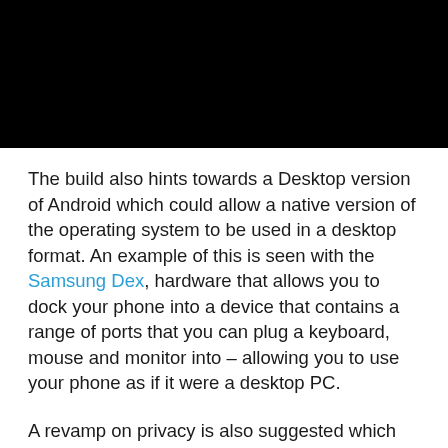[Figure (photo): Black rectangle image block at top of page]
The build also hints towards a Desktop version of Android which could allow a native version of the operating system to be used in a desktop format. An example of this is seen with the Samsung Dex, hardware that allows you to dock your phone into a device that contains a range of ports that you can plug a keyboard, mouse and monitor into – allowing you to use your phone as if it were a desktop PC.
A revamp on privacy is also suggested which should allow users to customise the permissions on their device to a greater extent, locking off areas of their phones or turning off locations for specific